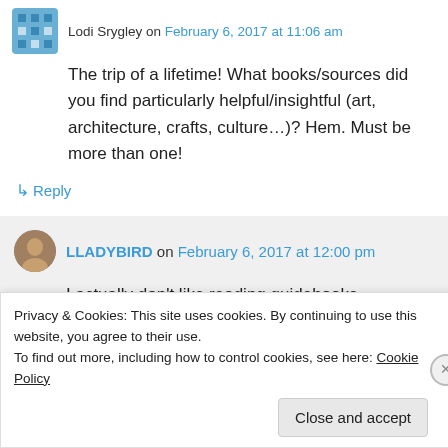Lodi Srygley on February 6, 2017 at 11:06 am
The trip of a lifetime! What books/sources did you find particularly helpful/insightful (art, architecture, crafts, culture…)? Hem. Must be more than one!
↳ Reply
LLADYBIRD on February 6, 2017 at 12:00 pm
I actually don't like reading guidebooks
Privacy & Cookies: This site uses cookies. By continuing to use this website, you agree to their use.
To find out more, including how to control cookies, see here: Cookie Policy
Close and accept